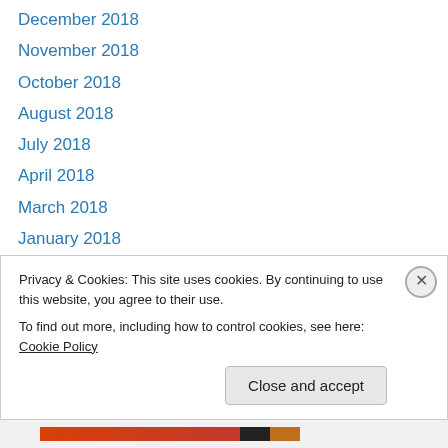December 2018
November 2018
October 2018
August 2018
July 2018
April 2018
March 2018
January 2018
December 2017
November 2017
September 2017
August 2017
July 2017
Privacy & Cookies: This site uses cookies. By continuing to use this website, you agree to their use. To find out more, including how to control cookies, see here: Cookie Policy
Close and accept